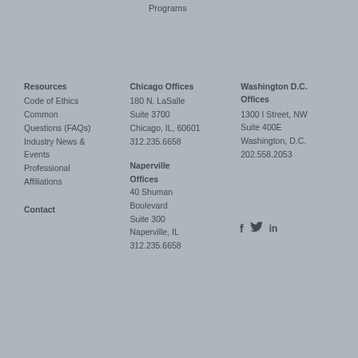Programs
Resources
Code of Ethics
Common Questions (FAQs)
Industry News & Events
Professional Affiliations
Contact
Chicago Offices
180 N. LaSalle
Suite 3700
Chicago, IL, 60601
312.235.6658
Naperville Offices
40 Shuman Boulevard
Suite 300
Naperville, IL
312.235.6658
Washington D.C. Offices
1300 I Street, NW
Suite 400E
Washington, D.C.
202.558.2053
[Figure (illustration): Social media icons: Facebook (f), Twitter (bird/check), LinkedIn (in)]